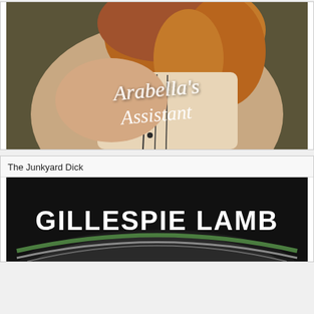[Figure (illustration): Book cover for 'Arabella's Assistant' showing a woman with red curly hair wearing a Victorian-era white embroidered corset/blouse, photographed from behind/side. The title 'Arabella's Assistant' is written in white cursive script over the image.]
The Junkyard Dick
[Figure (illustration): Book cover for 'The Junkyard Dick' by Gillespie Lamb, showing the author name 'GILLESPIE LAMB' in large white bold text against a dark background with what appears to be a car wheel/tire visible at the bottom.]